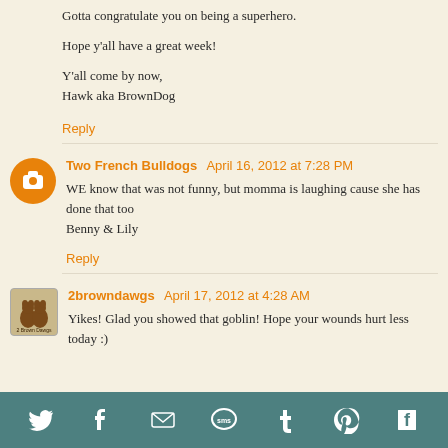Gotta congratulate you on being a superhero.
Hope y'all have a great week!
Y'all come by now,
Hawk aka BrownDog
Reply
Two French Bulldogs  April 16, 2012 at 7:28 PM
WE know that was not funny, but momma is laughing cause she has done that too
Benny & Lily
Reply
2browndawgs  April 17, 2012 at 4:28 AM
Yikes! Glad you showed that goblin! Hope your wounds hurt less today :)
[Figure (infographic): Social sharing toolbar with icons: Twitter, Facebook, Email, SMS, Tumblr, Pinterest, Flipboard]